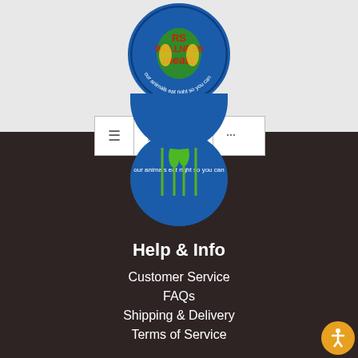[Figure (logo): RS Wellness Meats circular logo with blue background and text 'our animals eat right so you can']
Navigation bar with menu (≡), search (🔍), cart (🛒), and more (...) icons
Help & Info
Customer Service
FAQs
Shipping & Delivery
Terms of Service
Retail & Wholesale
Wholesale Accounts